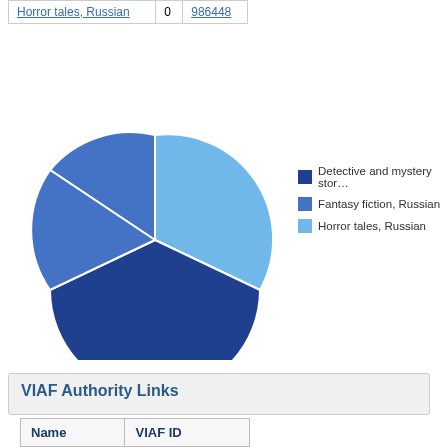|  |  |  |
| --- | --- | --- |
| Horror tales, Russian | 0 | 986448 |
[Figure (pie-chart): Subject genre pie chart]
VIAF Authority Links
| Name | VIAF ID |
| --- | --- |
| Verkin, Éduard | 311836076 |
Editions
Displaying 1 to 1 of 1